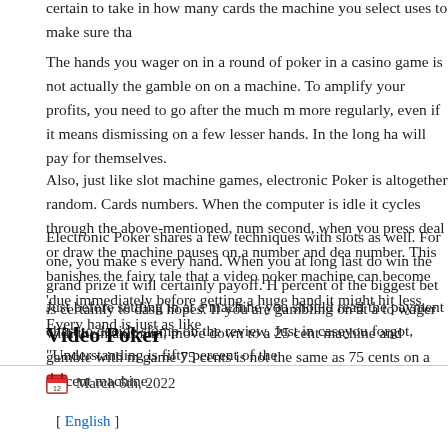certain to take in how many cards the machine you select uses to make sure tha...
The hands you wager on in a round of poker in a casino game is not actually the gamble on on a machine. To amplify your profits, you need to go after the much m more regularly, even if it means dismissing on a few lesser hands. In the long ha will pay for themselves.
Electronic Poker shares a few techniques with slots as well. For one, you make s every hand. When you at long last do win the grand prize it will certainly payoff. H percent of the biggest bet is certainly to dash hopes. If you are gambling on at a to wager with the maximum, move down to a 25 cent machine and gamble with m game 75 cents is not the same as 75 cents on a 25 cent machine.
Also, just like slot machine games, electronic Poker is altogether random. Cards numbers. When the computer is idle it cycles through the above-mentioned, num second, when you press deal or draw the machine pauses on a number and dea number. This banishes the fairy tale that a video poker machine can become 'due immediately before getting a huge hand it might hit less. Every hand is just as like
Just before settling in at a machine you should read the payment chart to decide skimp on the review. Just in caseyou forgot, "Understanding is fifty percent of the
Video Poker
March 6th, 2022
[ English ]